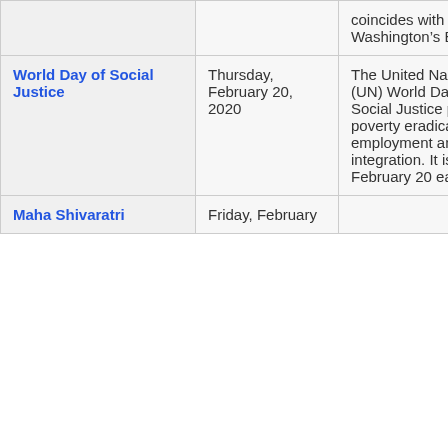| Holiday | Date | Description |
| --- | --- | --- |
|  |  | coincides with Washington's Birthday. |
| World Day of Social Justice | Thursday, February 20, 2020 | The United Nations' (UN) World Day of Social Justice promotes poverty eradication, full employment and social integration. It is on February 20 each year. |
| Maha Shivaratri | Friday, February |  |